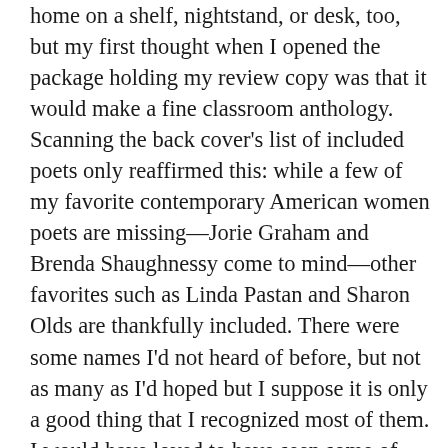home on a shelf, nightstand, or desk, too, but my first thought when I opened the package holding my review copy was that it would make a fine classroom anthology. Scanning the back cover's list of included poets only reaffirmed this: while a few of my favorite contemporary American women poets are missing—Jorie Graham and Brenda Shaughnessy come to mind—other favorites such as Linda Pastan and Sharon Olds are thankfully included. There were some names I'd not heard of before, but not as many as I'd hoped but I suppose it is only a good thing that I recognized most of them. I would have loved to have seen some of the younger underdogs whom I feel never get their due yet who are writing mercurial, jaw-dropping, and very humanistic poetry like Autumn McClintock included, but as the list stands it's a wise and varied